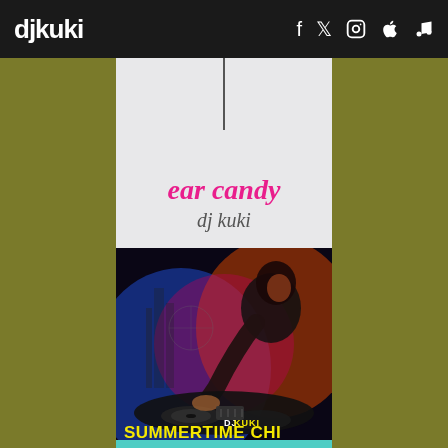djkuki — social icons: f, Twitter, Instagram, Apple, music note
[Figure (illustration): Album art for 'ear candy' by dj kuki. Light gray background with a thin vertical line from top, pink cursive text 'ear candy' and gray cursive text 'dj kuki' below.]
[Figure (photo): Album art for 'SUMMERTIME CHI' by DJ KUKI. Dark photo of a DJ working at turntables with colorful pink/blue/orange lighting. Text overlay: 'DJ KUKI' in white/yellow and 'SUMMERTIME CHI' in yellow bold letters at bottom left.]